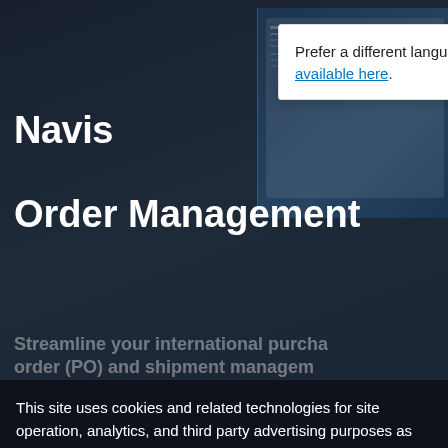[Figure (screenshot): Dark hero background with laptop screen visible on right side showing a web application interface]
Navisphere Purchase Order Management
Streamline your international purchase order (PO) and shipment management... increased visibility...
Prefer a different language? See what's available here.
This site uses cookies and related technologies for site operation, analytics, and third party advertising purposes as described in our Global Data Privacy Notice. You may choose to consent to our use of these technologies, reject non-essential technologies, or further manage your preferences.
Connect with us
Manage Settings
Accept
Overview